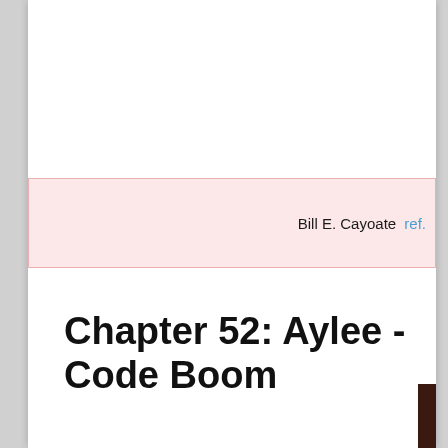Bill E. Cayoate ref.
Chapter 52: Aylee - Code Boom